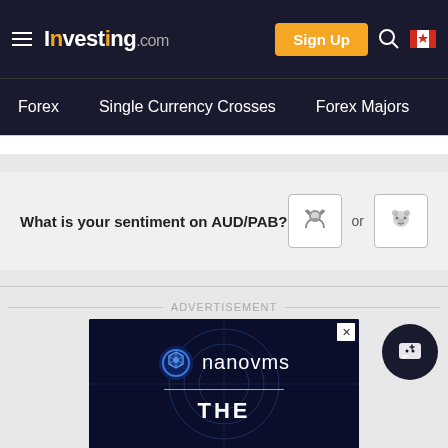Investing.com — Sign Up — Forex — Single Currency Crosses — Forex Majors — Live Cu...
What is your sentiment on AUD/PAB?
[Figure (screenshot): NanoVMS advertisement banner with logo and text THE]
ADVERTISEMENT